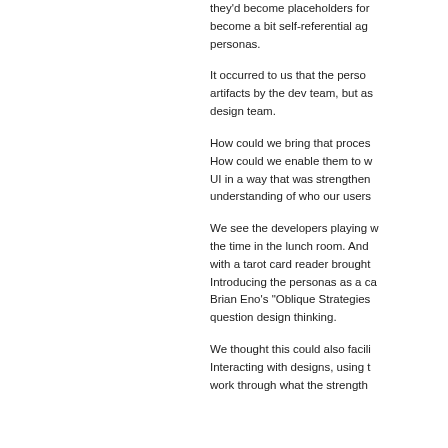they'd become placeholders for... become a bit self-referential ag... personas.
It occurred to us that the person... artifacts by the dev team, but as... design team.
How could we bring that proces... How could we enable them to w... UI in a way that was strengthen... understanding of who our users...
We see the developers playing w... the time in the lunch room. And... with a tarot card reader brought... Introducing the personas as a ca... Brian Eno's "Oblique Strategies... question design thinking.
We thought this could also facili... Interacting with designs, using t... work through what the strength...